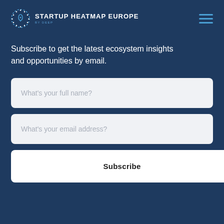STARTUP HEATMAP EUROPE BY DEEP
Subscribe to get the latest ecosystem insights and opportunities by email.
What's your full name?
What's your email address?
Subscribe